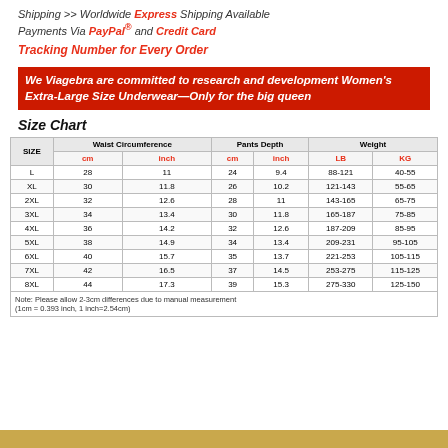Shipping >> Worldwide Express Shipping Available
Payments Via PayPal® and Credit Card
Tracking Number for Every Order
We Viagebra are committed to research and development Women's Extra-Large Size Underwear—Only for the big queen
Size Chart
| SIZE | Waist Circumference cm | Waist Circumference inch | Pants Depth cm | Pants Depth inch | Weight LB | Weight KG |
| --- | --- | --- | --- | --- | --- | --- |
| L | 28 | 11 | 24 | 9.4 | 88-121 | 40-55 |
| XL | 30 | 11.8 | 26 | 10.2 | 121-143 | 55-65 |
| 2XL | 32 | 12.6 | 28 | 11 | 143-165 | 65-75 |
| 3XL | 34 | 13.4 | 30 | 11.8 | 165-187 | 75-85 |
| 4XL | 36 | 14.2 | 32 | 12.6 | 187-209 | 85-95 |
| 5XL | 38 | 14.9 | 34 | 13.4 | 209-231 | 95-105 |
| 6XL | 40 | 15.7 | 35 | 13.7 | 221-253 | 105-115 |
| 7XL | 42 | 16.5 | 37 | 14.5 | 253-275 | 115-125 |
| 8XL | 44 | 17.3 | 39 | 15.3 | 275-330 | 125-150 |
Note: Please allow 2-3cm differences due to manual measurement (1cm = 0.393 inch, 1 inch=2.54cm)